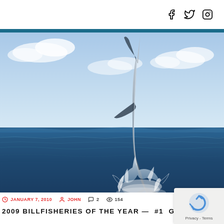Social media icons: Facebook, Twitter, Instagram
[Figure (photo): A large marlin or black marlin leaping vertically out of the ocean, water spraying at the base, blue sky with light clouds and blue ocean in the background]
JANUARY 7, 2010  JOHN  2  154
2009 BILLFISHERIES OF THE YEAR — #1  GREAT BARRIER REEF